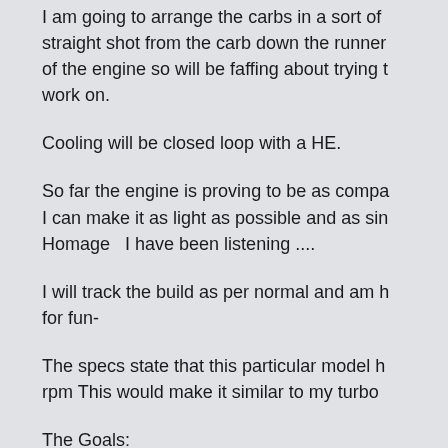I am going to arrange the carbs in a sort of straight shot from the carb down the runner of the engine so will be faffing about trying t work on.
Cooling will be closed loop with a HE.
So far the engine is proving to be as compa I can make it as light as possible and as sin Homage   I have been listening ....
I will track the build as per normal and am h for fun-
The specs state that this particular model h rpm This would make it similar to my turbo
The Goals:
1. Do something I cant find documented on